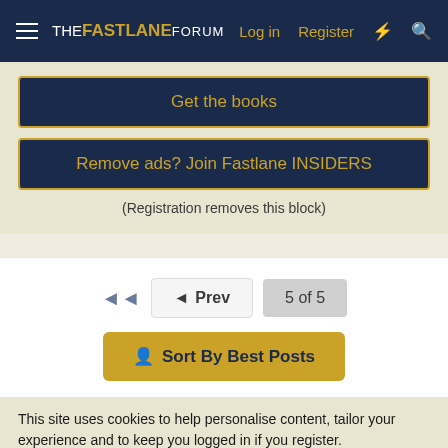THE FASTLANE FORUM — Log in | Register
Get the books
Remove ads? Join Fastlane INSIDERS
(Registration removes this block)
◄◄  ◄ Prev  5 of 5
Sort By Best Posts
This site uses cookies to help personalise content, tailor your experience and to keep you logged in if you register.
By continuing to use this site, you are consenting to our use of cookies.
✓ Accept   Learn more...